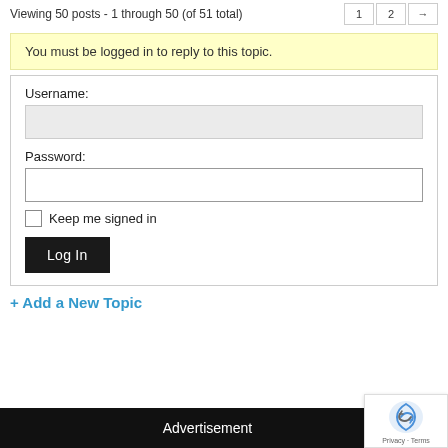Viewing 50 posts - 1 through 50 (of 51 total)
You must be logged in to reply to this topic.
Username:
Password:
Keep me signed in
Log In
+ Add a New Topic
Advertisement